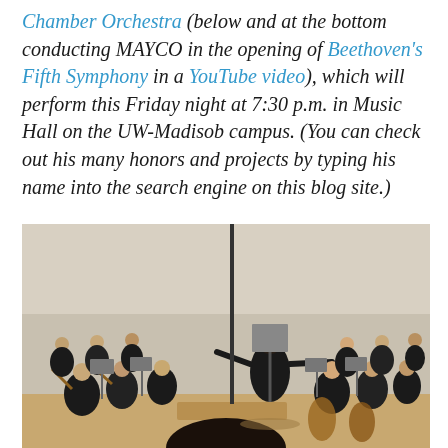Chamber Orchestra (below and at the bottom conducting MAYCO in the opening of Beethoven's Fifth Symphony in a YouTube video), which will perform this Friday night at 7:30 p.m. in Music Hall on the UW-Madisob campus. (You can check out his many honors and projects by typing his name into the search engine on this blog site.)
[Figure (photo): A conductor standing on a podium with their back to the camera, arms raised conducting a large chamber orchestra of young musicians in formal black attire seated in a semicircle in a concert hall.]